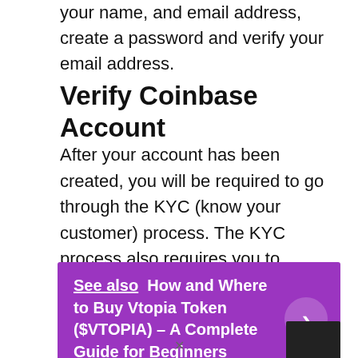your name, and email address, create a password and verify your email address.
Verify Coinbase Account
After your account has been created, you will be required to go through the KYC (know your customer) process. The KYC process also requires you to provide proof of identity and proof of residency.
See also  How and Where to Buy Vtopia Token ($VTOPIA) – A Complete Guide for Beginners